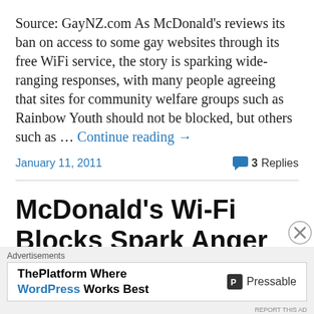Source: GayNZ.com As McDonald's reviews its ban on access to some gay websites through its free WiFi service, the story is sparking wide-ranging responses, with many people agreeing that sites for community welfare groups such as Rainbow Youth should not be blocked, but others such as … Continue reading →
January 11, 2011    3 Replies
McDonald's Wi-Fi Blocks Spark Anger
Source: stuff.co.nz By Kristi Johnston McDonald's is facin…
[Figure (other): Advertisement banner: ThePlatform Where WordPress Works Best — Pressable logo]